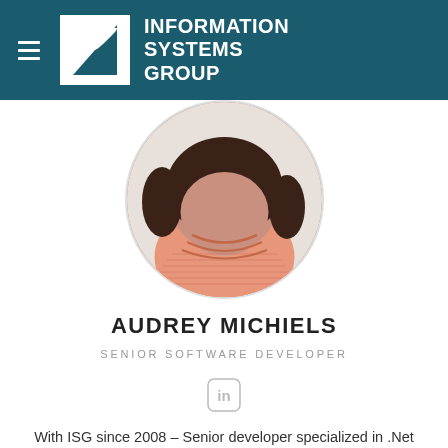INFORMATION SYSTEMS GROUP
[Figure (photo): Circular profile photo of Audrey Michiels, a woman with curly dark hair wearing a salmon/peach knit turtleneck sweater, cropped to show neck and upper chest area.]
AUDREY MICHIELS
SENIOR SOFTWARE DEVELOPER
[Figure (logo): LinkedIn icon — rounded square with 'in' symbol in grey outline style.]
With ISG since 2008 – Senior developer specialized in .Net technologies and SQL, she is passionate about finding the right solution for business issues and